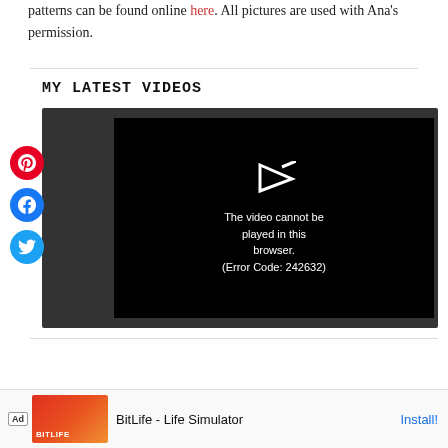patterns can be found online here. All pictures are used with Ana's permission.
MY LATEST VIDEOS
[Figure (screenshot): Video player showing error message: The video cannot be played in this browser. (Error Code: 242632). Dark background with black inner panel, play icon arrow, and social sharing buttons (Pinterest, Facebook, Twitter) on the left side.]
Ad BitLife - Life Simulator Install!